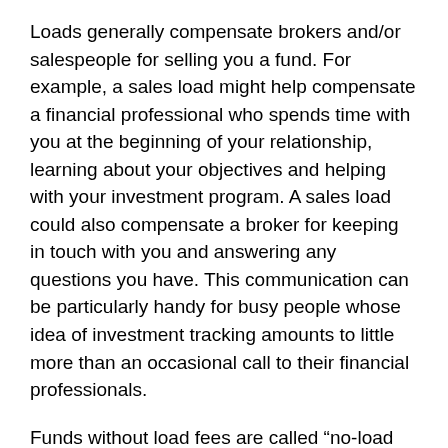Loads generally compensate brokers and/or salespeople for selling you a fund. For example, a sales load might help compensate a financial professional who spends time with you at the beginning of your relationship, learning about your objectives and helping with your investment program. A sales load could also compensate a broker for keeping in touch with you and answering any questions you have. This communication can be particularly handy for busy people whose idea of investment tracking amounts to little more than an occasional call to their financial professionals.
Funds without load fees are called “no-load funds.” These funds are distributed directly by the investment company and therefore do not need to charge for brokerage services.
Despite this, all funds, even those with load charges, also have management and expense fees. Management fees pay for the administration of the